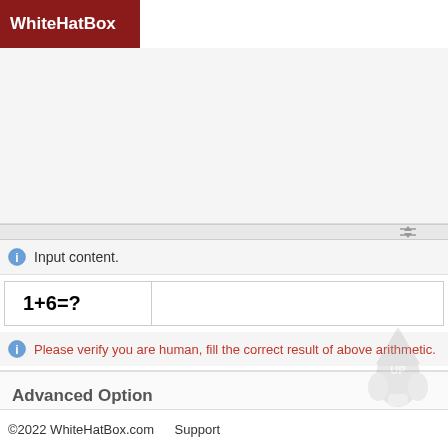WhiteHatBox
[Figure (screenshot): Empty content area / text input region]
Input content.
Please verify you are human, fill the correct result of above arithmetic.
Advanced Option
©2022 WhiteHatBox.com    Support